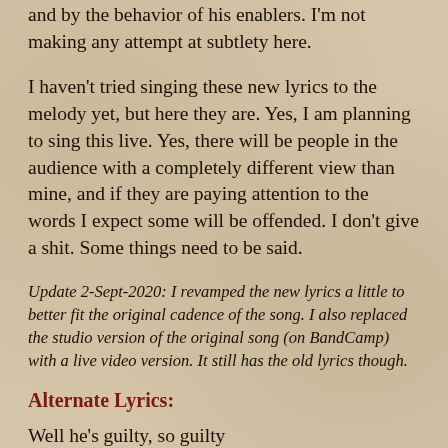and by the behavior of his enablers. I'm not making any attempt at subtlety here.
I haven't tried singing these new lyrics to the melody yet, but here they are. Yes, I am planning to sing this live. Yes, there will be people in the audience with a completely different view than mine, and if they are paying attention to the words I expect some will be offended. I don't give a shit. Some things need to be said.
Update 2-Sept-2020: I revamped the new lyrics a little to better fit the original cadence of the song. I also replaced the studio version of the original song (on BandCamp) with a live video version. It still has the old lyrics though.
Alternate Lyrics:
Well he's guilty, so guilty
He's guilty as sin. We don't know where he's been